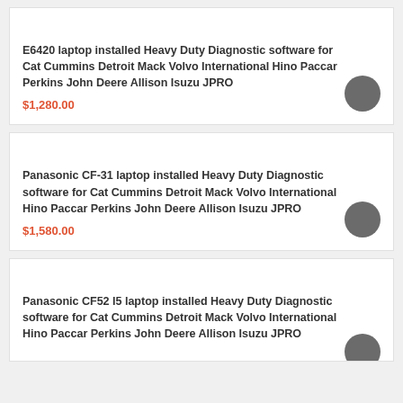E6420 laptop installed Heavy Duty Diagnostic software for Cat Cummins Detroit Mack Volvo International Hino Paccar Perkins John Deere Allison Isuzu JPRO
$1,280.00
Panasonic CF-31 laptop installed Heavy Duty Diagnostic software for Cat Cummins Detroit Mack Volvo International Hino Paccar Perkins John Deere Allison Isuzu JPRO
$1,580.00
Panasonic CF52 I5 laptop installed Heavy Duty Diagnostic software for Cat Cummins Detroit Mack Volvo International Hino Paccar Perkins John Deere Allison Isuzu JPRO